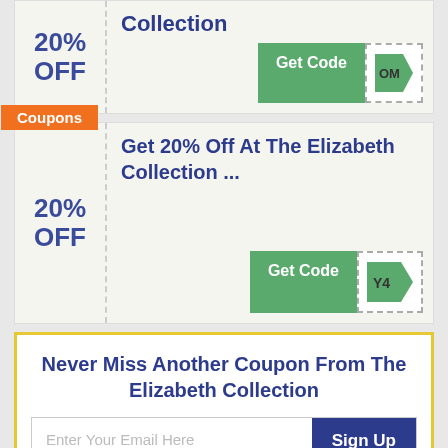[Figure (screenshot): Coupon card 1 (partially visible at top): 20% OFF - Collection, Get Code button with code ending in OM]
[Figure (screenshot): Coupon card 2: Coupons badge (orange), 20% OFF - Get 20% Off At The Elizabeth Collection..., Get Code button with code ending in Y4]
Never Miss Another Coupon From The Elizabeth Collection
Enter Your Email Here
Sign Up
By Signing Up, you agree to our terms of service